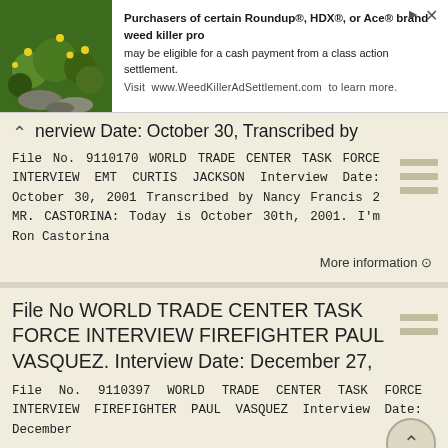[Figure (screenshot): Advertisement banner for WeedKillerAdSettlement.com about Roundup, HDX, or Ace brand weed killer class action settlement]
Interview Date: October 30, Transcribed by
File No. 9110170 WORLD TRADE CENTER TASK FORCE INTERVIEW EMT CURTIS JACKSON Interview Date: October 30, 2001 Transcribed by Nancy Francis 2 MR. CASTORINA: Today is October 30th, 2001. I'm Ron Castorina
More information →
File No WORLD TRADE CENTER TASK FORCE INTERVIEW FIREFIGHTER PAUL VASQUEZ. Interview Date: December 27,
File No. 9110397 WORLD TRADE CENTER TASK FORCE INTERVIEW FIREFIGHTER PAUL VASQUEZ Interview Date: December